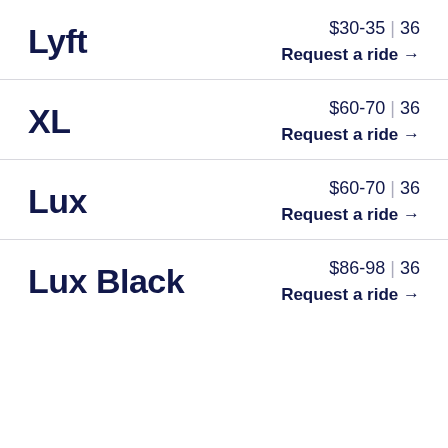Lyft — $30-35 | 36 — Request a ride →
XL — $60-70 | 36 — Request a ride →
Lux — $60-70 | 36 — Request a ride →
Lux Black — $86-98 | 36 — Request a ride →